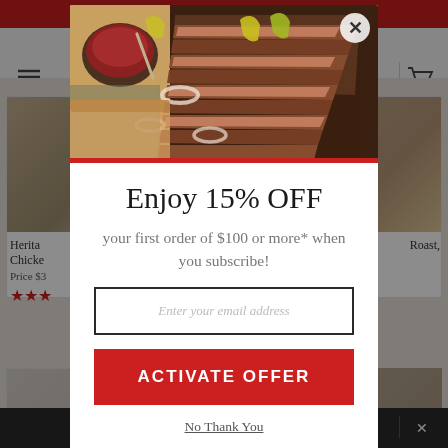[Figure (screenshot): E-commerce website background showing navigation bar, product listings with heritage chicken and roast products, with red top bar and dark bottom bar]
[Figure (photo): Modal popup hero image showing sliced BBQ brisket on a wooden cutting board with sauce, onion rings, and peppers]
Enjoy 15% OFF
your first order of $100 or more* when you subscribe!
Enter your email address
ACTIVATE OFFER
No Thank You